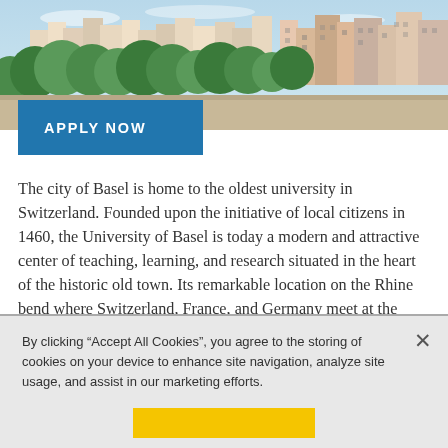[Figure (photo): Aerial view of the city of Basel, Switzerland, showing colorful historic buildings along a hillside with lush green trees.]
APPLY NOW
The city of Basel is home to the oldest university in Switzerland. Founded upon the initiative of local citizens in 1460, the University of Basel is today a modern and attractive center of teaching, learning, and research situated in the heart of the historic old town. Its remarkable location on the Rhine bend where Switzerland, France, and Germany meet at the heart of western Europe make Basel a bustling, diverse, and open-minded city.
By clicking “Accept All Cookies”, you agree to the storing of cookies on your device to enhance site navigation, analyze site usage, and assist in our marketing efforts.